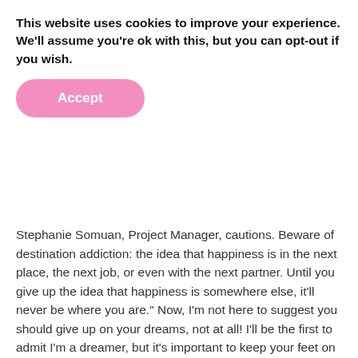This website uses cookies to improve your experience. We'll assume you're ok with this, but you can opt-out if you wish.
Accept
Stephanie Somuan, Project Manager, cautions. "Beware of destination addiction: the idea that happiness is in the next place, the next job, or even with the next partner. Until you give up the idea that happiness is somewhere else, it'll never be where you are." Now, I'm not here to suggest you should give up on your dreams, not at all! I'll be the first to admit I'm a dreamer, but it's important to keep your feet on the ground and stop thinking of that alternative that doesn't exist. Remember you're in charge of your happiness and only you can control your direction. "If you change the way you look at things, the things you look at will change," stated Hayley Cooper, Senior Project Manager, while Alice Douglas, Project Manager, recommends "doing the best you can until you know better, then you can do better."